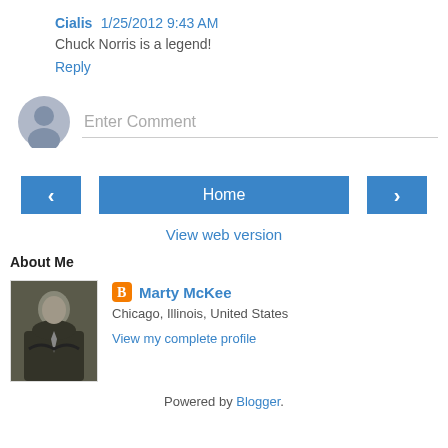Cialis  1/25/2012 9:43 AM
Chuck Norris is a legend!
Reply
[Figure (illustration): Comment input area with a grey user avatar circle on the left and a text input box with placeholder 'Enter Comment' and a bottom border line]
[Figure (infographic): Navigation buttons: left arrow button, Home button, right arrow button]
View web version
About Me
[Figure (photo): Black and white photo of Marty McKee, a man in a dark suit with arms crossed]
Marty McKee
Chicago, Illinois, United States
View my complete profile
Powered by Blogger.